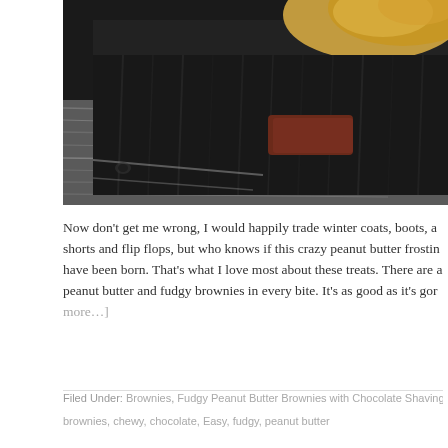[Figure (photo): Close-up macro photograph of a dark chocolate/fudgy brownie with peanut butter frosting on top, resting on a textured wooden surface. The brownie cross-section shows a dense, moist interior. Shot from very close range with shallow depth of field.]
Now don’t get me wrong, I would happily trade winter coats, boots, and shorts and flip flops, but who knows if this crazy peanut butter frosting would have been born. That’s what I love most about these treats. There are a peanut butter and fudgy brownies in every bite. It’s as good as it’s gon more…]
Filed Under: Brownies, Fudgy Peanut Butter Brownies with Chocolate Shavings, Recip
brownies, chewy, chocolate, Easy, fudgy, peanut butter